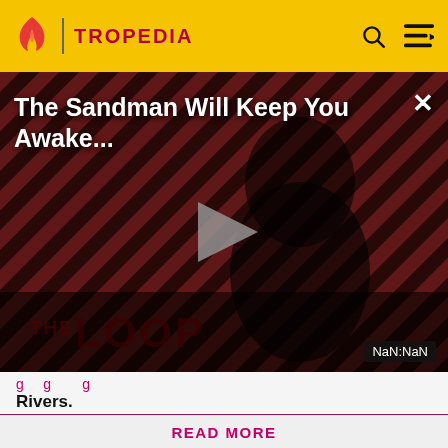TROPEDIA
[Figure (screenshot): Video player thumbnail showing 'The Sandman Will Keep You Awake...' with a dark-themed background of diagonal stripes in red/maroon, a figure in black clothing, a play button in the center, and 'THE LOOP' text at the bottom. NaN:NaN timestamp badge visible.]
The Sandman Will Keep You Awake...
Rivers.
Before making a single edit, Tropedia EXPECTS our site policy and manual of style to be followed. Failure to do so may
READ MORE